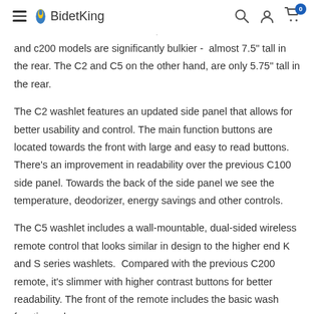BidetKing — navigation header with search, account, and cart icons
and c200 models are significantly bulkier -  almost 7.5" tall in the rear. The C2 and C5 on the other hand, are only 5.75" tall in the rear.
The C2 washlet features an updated side panel that allows for better usability and control. The main function buttons are located towards the front with large and easy to read buttons. There's an improvement in readability over the previous C100 side panel. Towards the back of the side panel we see the temperature, deodorizer, energy savings and other controls.
The C5 washlet includes a wall-mountable, dual-sided wireless remote control that looks similar in design to the higher end K and S series washlets.  Compared with the previous C200 remote, it's slimmer with higher contrast buttons for better readability. The front of the remote includes the basic wash functions, dryer